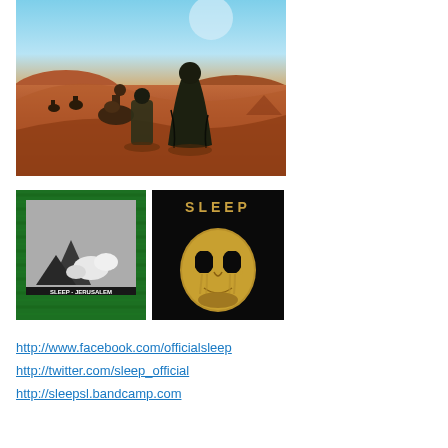[Figure (illustration): Album cover art showing robed figures and camels walking across a red desert landscape under a blue sky — Sleep's 'Dopesmoker' or similar album art]
[Figure (illustration): Album cover for 'Sleep - Jerusalem' showing a black and white image of rocks/boulders on a green textured background with text 'SLEEP - JERUSALEM']
[Figure (illustration): Album cover for 'Sleep' showing a golden/bronze mask-like face against a black background with 'SLEEP' text at top]
http://www.facebook.com/officialsleep
http://twitter.com/sleep_official
http://sleepsl.bandcamp.com